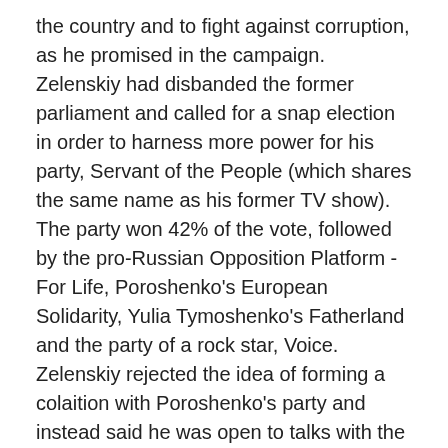the country and to fight against corruption, as he promised in the campaign. Zelenskiy had disbanded the former parliament and called for a snap election in order to harness more power for his party, Servant of the People (which shares the same name as his former TV show). The party won 42% of the vote, followed by the pro-Russian Opposition Platform - For Life, Poroshenko's European Solidarity, Yulia Tymoshenko's Fatherland and the party of a rock star, Voice. Zelenskiy rejected the idea of forming a colaition with Poroshenko's party and instead said he was open to talks with the Voice party.
Rapper A$AP Rocky detained in Sweden
This Thursday, American rapper A$AP Rocky was charged with assault in Sweden over a street fight. Nuermous celebrities in the US, including president